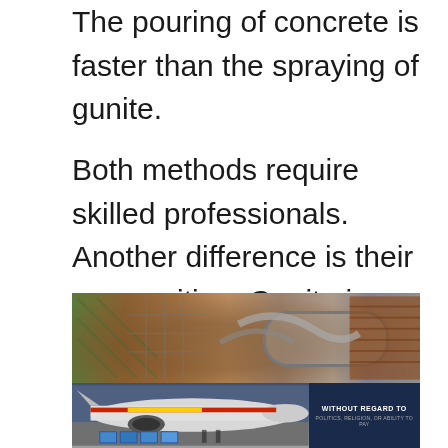The pouring of concrete is faster than the spraying of gunite.
Both methods require skilled professionals. Another difference is their composition. Gunite is made up of fine particles rather than the mix of large and small particles that would be found in concrete.
[Figure (photo): Composite image showing construction/gunite spraying equipment at top (pipes, rebar, brick wall background) and a cargo plane being loaded at bottom left with a dark banner reading 'WITHOUT REGARD TO' at bottom right.]